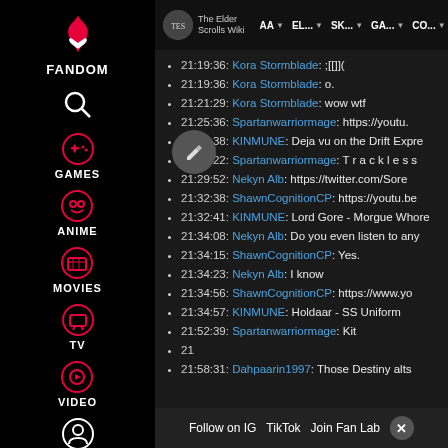[Figure (screenshot): Fandom website sidebar with logo, search, Games, Anime, Movies, TV, Video navigation icons on black background]
The Elder Scrolls Wiki | AA | EL... | SK... | GA... | CO...
21:19:36: Kora Stormblade: ;[[]](
21:19:36: Kora Stormblade: o.
21:21:29: Kora Stormblade: wow wtf
21:25:36: Spartanwarriormage: https://youtu.
21:25:38: KINMUNE: Deja vu on the Drift Expre
21:26:22: Spartanwarriormage: T r a c k l e s s
21:29:52: Nekyn Alb: https://twitter.com/Sore
21:32:38: ShawnCognitionCP: https://youtu.be
21:32:41: KINMUNE: Lord Gore - Morgue Whore
21:34:08: Nekyn Alb: Do you even listen to any
21:34:15: ShawnCognitionCP: Yes.
21:34:23: Nekyn Alb: I know
21:34:56: ShawnCognitionCP: https://www.yo
21:34:57: KINMUNE: Holdaar - SS Uniform
21:52:39: Spartanwarriormage: Kit
21
21:58:31: Dahpaarin1997: Those Destiny alts
Follow on IG | TikTok | Join Fan Lab | X